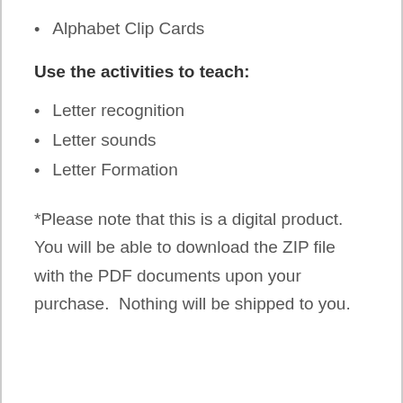Alphabet Clip Cards
Use the activities to teach:
Letter recognition
Letter sounds
Letter Formation
*Please note that this is a digital product.  You will be able to download the ZIP file with the PDF documents upon your purchase.  Nothing will be shipped to you.